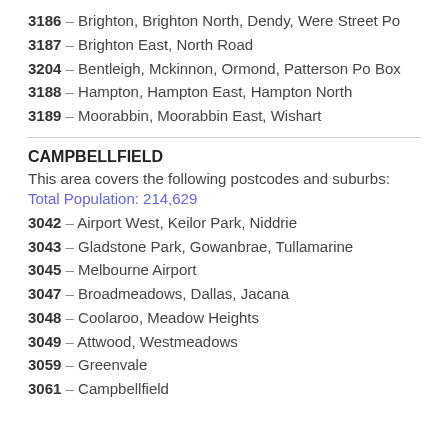3186 – Brighton, Brighton North, Dendy, Were Street Po
3187 – Brighton East, North Road
3204 – Bentleigh, Mckinnon, Ormond, Patterson Po Box
3188 – Hampton, Hampton East, Hampton North
3189 – Moorabbin, Moorabbin East, Wishart
CAMPBELLFIELD
This area covers the following postcodes and suburbs:
Total Population: 214,629
3042 – Airport West, Keilor Park, Niddrie
3043 – Gladstone Park, Gowanbrae, Tullamarine
3045 – Melbourne Airport
3047 – Broadmeadows, Dallas, Jacana
3048 – Coolaroo, Meadow Heights
3049 – Attwood, Westmeadows
3059 – Greenvale
3061 – Campbellfield